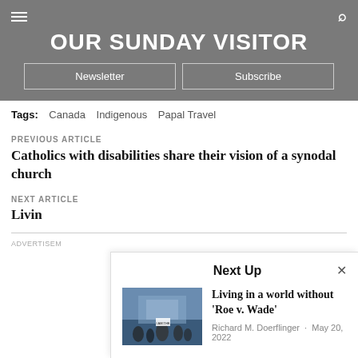OUR SUNDAY VISITOR
Tags: Canada  Indigenous  Papal Travel
PREVIOUS ARTICLE
Catholics with disabilities share their vision of a synodal church
NEXT ARTICLE
Living
Advertisement
[Figure (screenshot): Next Up overlay card showing article 'Living in a world without Roe v. Wade' by Richard M. Doerflinger, May 20, 2022, with a protest photo thumbnail]
Living in a world without 'Roe v. Wade' · Richard M. Doerflinger · May 20, 2022